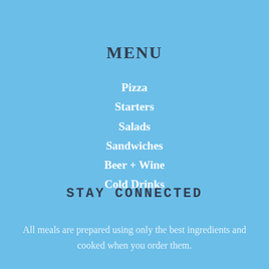MENU
Pizza
Starters
Salads
Sandwiches
Beer + Wine
Cold Drinks
STAY CONNECTED
All meals are prepared using only the best ingredients and cooked when you order them.